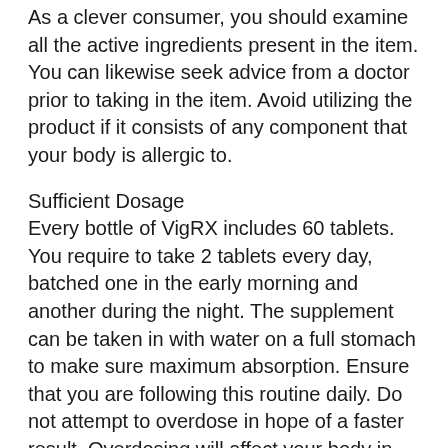As a clever consumer, you should examine all the active ingredients present in the item. You can likewise seek advice from a doctor prior to taking in the item. Avoid utilizing the product if it consists of any component that your body is allergic to.
Sufficient Dosage
Every bottle of VigRX includes 60 tablets. You require to take 2 tablets every day, batched one in the early morning and another during the night. The supplement can be taken in with water on a full stomach to make sure maximum absorption. Ensure that you are following this routine daily. Do not attempt to overdose in hope of a faster result. Overdosing will affect your body in the long run and can make you ill.